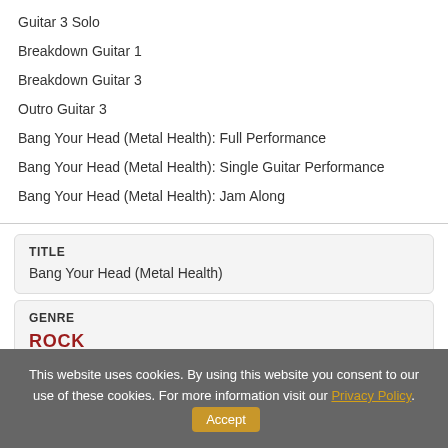Guitar 3 Solo
Breakdown Guitar 1
Breakdown Guitar 3
Outro Guitar 3
Bang Your Head (Metal Health): Full Performance
Bang Your Head (Metal Health): Single Guitar Performance
Bang Your Head (Metal Health): Jam Along
TITLE
Bang Your Head (Metal Health)
GENRE
ROCK
This website uses cookies. By using this website you consent to our use of these cookies. For more information visit our Privacy Policy. Accept